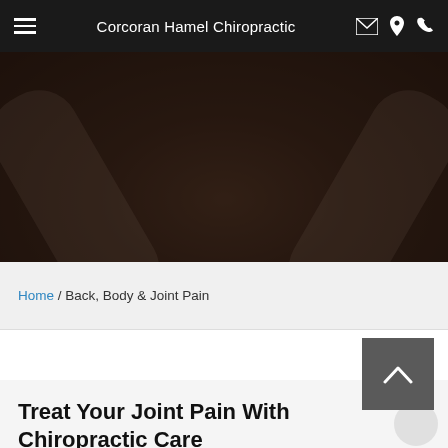Corcoran Hamel Chiropractic
[Figure (photo): Dark-toned hero image showing hands on a person's lower back, chiropractic care context]
Home / Back, Body & Joint Pain
Treat Your Joint Pain With Chiropractic Care
Category: Newsletter Library, Back, Body & Joint Pain